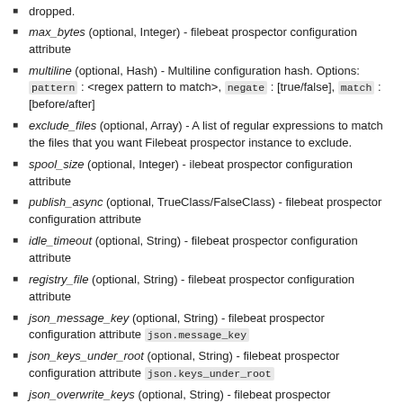dropped.
max_bytes (optional, Integer) - filebeat prospector configuration attribute
multiline (optional, Hash) - Multiline configuration hash. Options: pattern : <regex pattern to match>, negate : [true/false], match : [before/after]
exclude_files (optional, Array) - A list of regular expressions to match the files that you want Filebeat prospector instance to exclude.
spool_size (optional, Integer) - ilebeat prospector configuration attribute
publish_async (optional, TrueClass/FalseClass) - filebeat prospector configuration attribute
idle_timeout (optional, String) - filebeat prospector configuration attribute
registry_file (optional, String) - filebeat prospector configuration attribute
json_message_key (optional, String) - filebeat prospector configuration attribute json.message_key
json_keys_under_root (optional, String) - filebeat prospector configuration attribute json.keys_under_root
json_overwrite_keys (optional, String) - filebeat prospector configuration attribute json.overwrite_keys
json_add_error_key (optional, String) - filebeat prospector